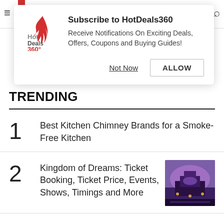[Figure (screenshot): HotDeals360 website screenshot with subscription popup and trending list]
Subscribe to HotDeals360
Receive Notifications On Exciting Deals, Offers, Coupons and Buying Guides!
TRENDING
1  Best Kitchen Chimney Brands for a Smoke-Free Kitchen
2  Kingdom of Dreams: Ticket Booking, Ticket Price, Events, Shows, Timings and More
3  Best Umbrellas in India